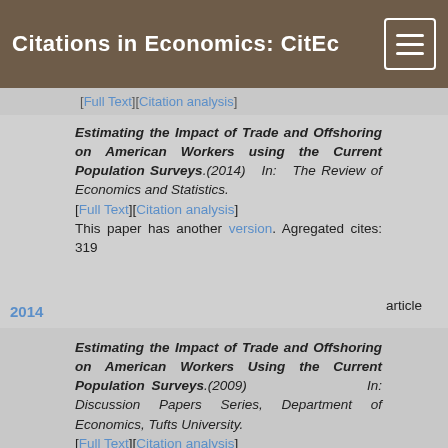Citations in Economics: CitEc
[Full Text][Citation analysis]
2014 — Estimating the Impact of Trade and Offshoring on American Workers using the Current Population Surveys.(2014) In: The Review of Economics and Statistics. [Full Text][Citation analysis] This paper has another version. Agregated cites: 319 article
2009 — Estimating the Impact of Trade and Offshoring on American Workers Using the Current Population Surveys.(2009) In: Discussion Papers Series, Department of Economics, Tufts University. [Full Text][Citation analysis] paper